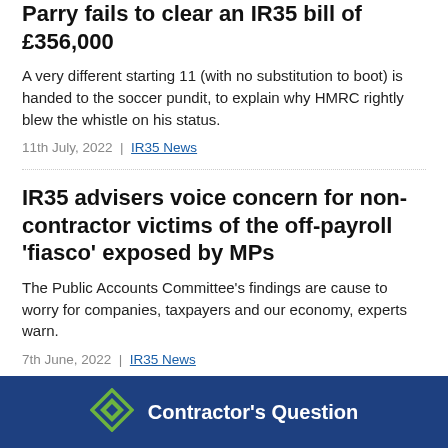Parry fails to clear an IR35 bill of £356,000
A very different starting 11 (with no substitution to boot) is handed to the soccer pundit, to explain why HMRC rightly blew the whistle on his status.
11th July, 2022  |  IR35 News
IR35 advisers voice concern for non-contractor victims of the off-payroll 'fiasco' exposed by MPs
The Public Accounts Committee's findings are cause to worry for companies, taxpayers and our economy, experts warn.
7th June, 2022  |  IR35 News
[Figure (logo): Contractor's Question logo with diamond shape icon on dark blue background bar]